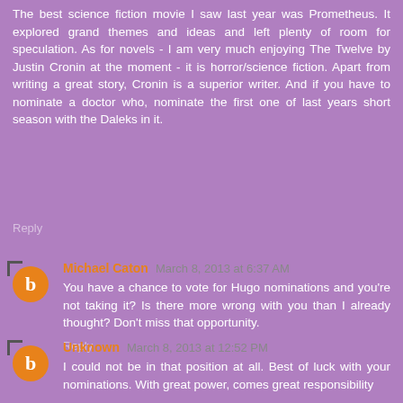The best science fiction movie I saw last year was Prometheus. It explored grand themes and ideas and left plenty of room for speculation. As for novels - I am very much enjoying The Twelve by Justin Cronin at the moment - it is horror/science fiction. Apart from writing a great story, Cronin is a superior writer. And if you have to nominate a doctor who, nominate the first one of last years short season with the Daleks in it.
Reply
Michael Caton March 8, 2013 at 6:37 AM
You have a chance to vote for Hugo nominations and you're not taking it? Is there more wrong with you than I already thought? Don't miss that opportunity.
Reply
Unknown March 8, 2013 at 12:52 PM
I could not be in that position at all. Best of luck with your nominations. With great power, comes great responsibility